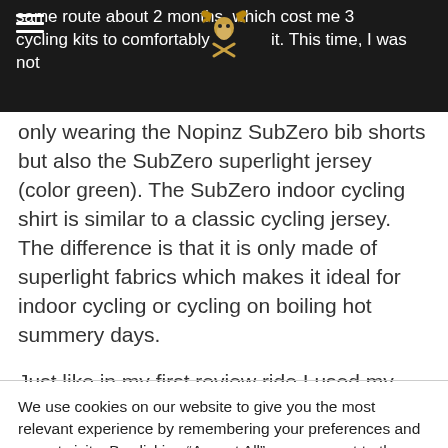same route about 2 months, which cost me 3 cycling kits to comfortably do it. This time, I was not
only wearing the Nopinz SubZero bib shorts but also the SubZero superlight jersey (color green). The SubZero indoor cycling shirt is similar to a classic cycling jersey. The difference is that it is only made of superlight fabrics which makes it ideal for indoor cycling or cycling on boiling hot summery days.
Just like in my first review ride I used my pair of wrist,
We use cookies on our website to give you the most relevant experience by remembering your preferences and repeat visits. By clicking “Accept All”, you consent to the use of ALL the cookies. However, you may visit "Cookie Settings" to provide a controlled consent.